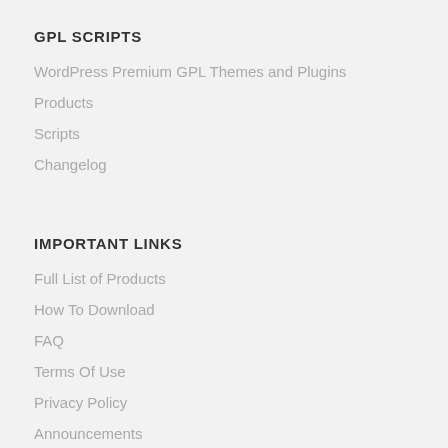GPL SCRIPTS
WordPress Premium GPL Themes and Plugins
Products
Scripts
Changelog
IMPORTANT LINKS
Full List of Products
How To Download
FAQ
Terms Of Use
Privacy Policy
Announcements